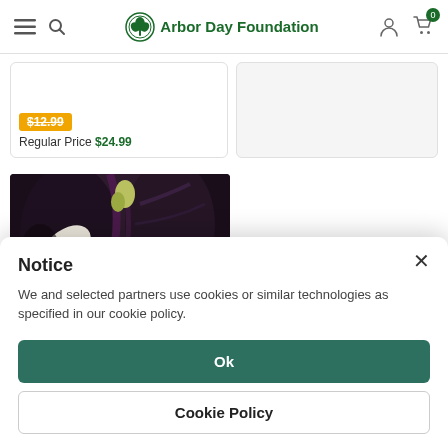Arbor Day Foundation
Regular Price $24.99
[Figure (photo): Close-up photo of white magnolia flower blooms with dark purple-green foliage in background]
Notice
We and selected partners use cookies or similar technologies as specified in our cookie policy.
Ok
Cookie Policy